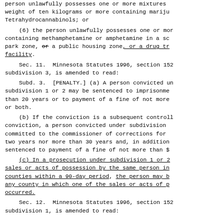person unlawfully possesses one or more mixtures weight of ten kilograms or more containing mariju Tetrahydrocannabinols; or
(6) the person unlawfully possesses one or mor containing methamphetamine or amphetamine in a sc park zone, or a public housing zone, or a drug tr facility.
Sec. 11.  Minnesota Statutes 1996, section 152 subdivision 3, is amended to read:
Subd. 3.  [PENALTY.] (a) A person convicted un subdivision 1 or 2 may be sentenced to imprisonme than 20 years or to payment of a fine of not more or both.
(b) If the conviction is a subsequent controll conviction, a person convicted under subdivision committed to the commissioner of corrections for two years nor more than 30 years and, in addition sentenced to payment of a fine of not more than $
(c) In a prosecution under subdivision 1 or 2 sales or acts of possession by the same person in counties within a 90-day period, the person may b any county in which one of the sales or acts of p occurred.
Sec. 12.  Minnesota Statutes 1996, section 152 subdivision 1, is amended to read: